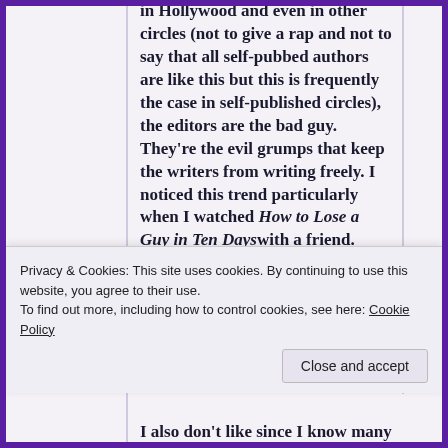in Hollywood and even in other circles (not to give a rap and not to say that all self-pubbed authors are like this but this is frequently the case in self-published circles), the editors are the bad guy. They're the evil grumps that keep the writers from writing freely. I noticed this trend particularly when I watched How to Lose a Guy in Ten Days with a friend. Contrary to what the story was trying to portray, what the editor
Privacy & Cookies: This site uses cookies. By continuing to use this website, you agree to their use. To find out more, including how to control cookies, see here: Cookie Policy
I also don't like since I know many